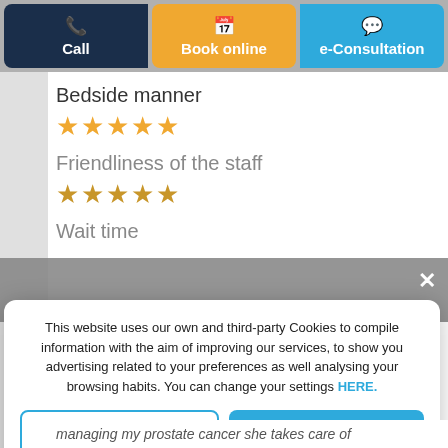[Figure (screenshot): Three action buttons: Call (dark navy), Book online (orange), e-Consultation (blue)]
Bedside manner
★★★★★
Friendliness of the staff
★★★★★
Wait time
This website uses our own and third-party Cookies to compile information with the aim of improving our services, to show you advertising related to your preferences as well analysing your browsing habits. You can change your settings HERE.
Reject
Accept all
Custom configuration | Cookies Policy | Privacy Policy
managing my prostate cancer she takes care of